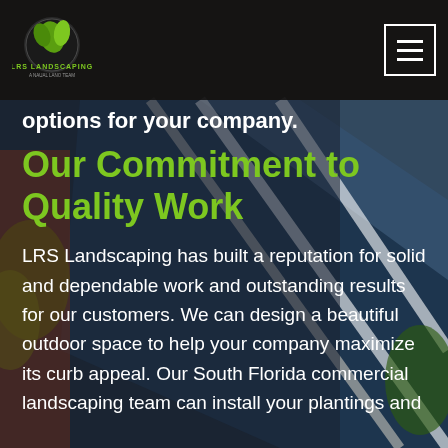[Figure (logo): LRS Landscaping logo with green leaf/hand icon on dark navbar]
options for your company.
Our Commitment to Quality Work
LRS Landscaping has built a reputation for solid and dependable work and outstanding results for our customers. We can design a beautiful outdoor space to help your company maximize its curb appeal. Our South Florida commercial landscaping team can install your plantings and